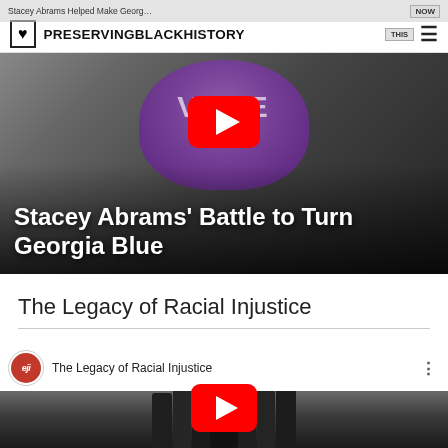PRESERVINGBLACKHISTORY
[Figure (screenshot): YouTube video thumbnail for 'Stacey Abrams' Battle to Turn Georgia Blue' showing a person wearing a purple VOTE face mask with a YouTube play button overlay. White bold text overlays the bottom of the image reading 'Stacey Abrams' Battle to Turn Georgia Blue']
The Legacy of Racial Injustice
[Figure (screenshot): YouTube video embed for 'The Legacy of Racial Injustice' by EJI (Equal Justice Initiative). Top bar shows EJI red circle logo and video title. Main scene shows police officers in riot gear facing a person with hands raised. Red YouTube play button overlay in center.]